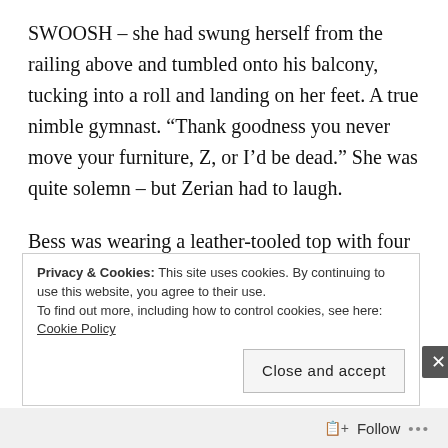SWOOSH – she had swung herself from the railing above and tumbled onto his balcony, tucking into a roll and landing on her feet. A true nimble gymnast. “Thank goodness you never move your furniture, Z, or I’d be dead.” She was quite solemn – but Zerian had to laugh.
Bess was wearing a leather-tooled top with four strings that tied behind her neck and back. She was always exposing her midriff for all the universe to behold, before being interrupted by her tawny, gauzy leggings
Privacy & Cookies: This site uses cookies. By continuing to use this website, you agree to their use.
To find out more, including how to control cookies, see here: Cookie Policy
Close and accept
Follow